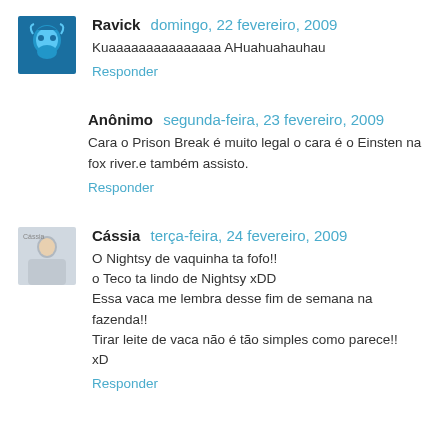Ravick  domingo, 22 fevereiro, 2009
Kuaaaaaaaaaaaaaaa AHuahuahauhau
Responder
Anônimo  segunda-feira, 23 fevereiro, 2009
Cara o Prison Break é muito legal o cara é o Einsten na fox river.e também assisto.
Responder
Cássia  terça-feira, 24 fevereiro, 2009
O Nightsy de vaquinha ta fofo!!
o Teco ta lindo de Nightsy xDD
Essa vaca me lembra desse fim de semana na fazenda!!
Tirar leite de vaca não é tão simples como parece!!
xD
Responder